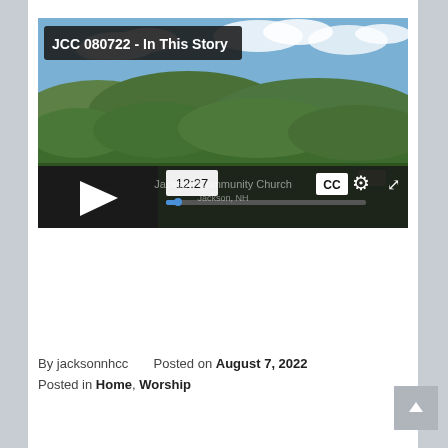[Figure (screenshot): Video player screenshot showing aerial landscape view of green forested hills under blue sky with clouds. Overlay shows title 'JCC 080722 - In This Story', play button, timestamp '12:27', progress bar, CC button, settings gear icon, and fullscreen icon. Watermark text 'Jackson Community Church, Jackson, NH' visible.]
By jacksonnhcc     Posted on August 7, 2022
Posted in Home, Worship